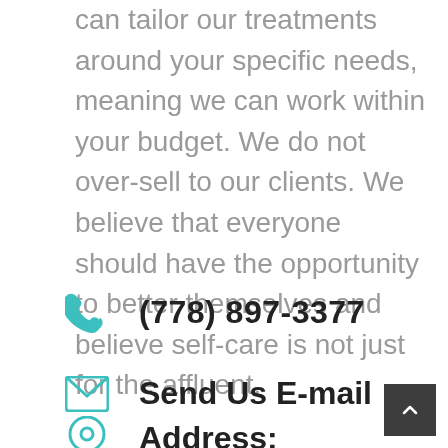can tailor our treatments around your specific needs, meaning we can work within your budget. We do not over-sell to our clients. We believe that everyone should have the opportunity to better themselves and believe self-care is not just for the affluent.
(778) 897-3377
Send Us E-mail
Address: